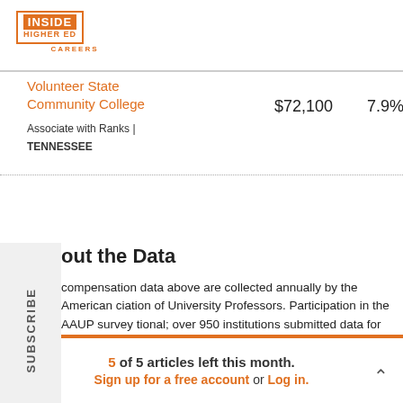[Figure (logo): Inside Higher Ed Careers logo with orange box border]
Volunteer State Community College
| Institution | Salary | Pct |
| --- | --- | --- |
| Volunteer State Community College
Associate with Ranks | TENNESSEE | $72,100 | 7.9% |
About the Data
The compensation data above are collected annually by the American Association of University Professors. Participation in the AAUP survey is optional; over 950 institutions submitted data for the 2018-19 academic year.
The salary and compensation data cover instructional and research
5 of 5 articles left this month. Sign up for a free account or Log in.